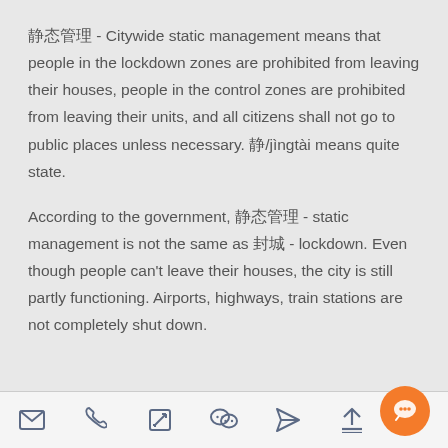静态管理 - Citywide static management means that people in the lockdown zones are prohibited from leaving their houses, people in the control zones are prohibited from leaving their units, and all citizens shall not go to public places unless necessary. 静/jìngtài means quite state.
According to the government, 静态管理 - static management is not the same as 封城 - lockdown. Even though people can't leave their houses, the city is still partly functioning. Airports, highways, train stations are not completely shut down.
[email icon] [phone icon] [edit icon] [wechat icon] [send icon] [upload icon]